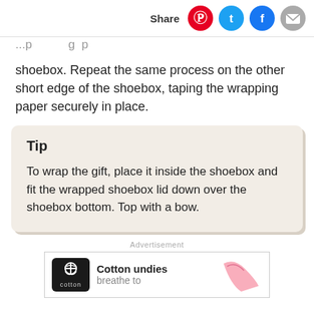Share
shoebox. Repeat the same process on the other short edge of the shoebox, taping the wrapping paper securely in place.
Tip
To wrap the gift, place it inside the shoebox and fit the wrapped shoebox lid down over the shoebox bottom. Top with a bow.
Advertisement
[Figure (other): Advertisement banner for Cotton undies showing logo and pink underwear graphic]